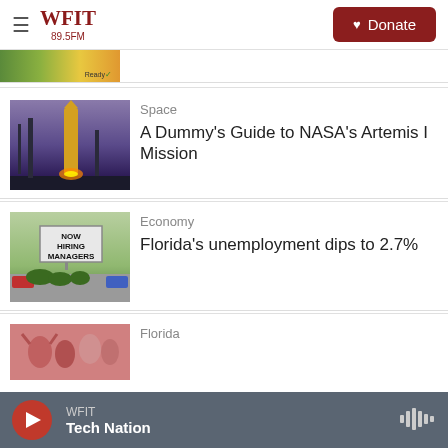WFIT 89.5FM | Donate
[Figure (screenshot): Partial image strip at top of page, cropped article image with green/yellow/orange colors and 'Ready' text]
[Figure (photo): NASA Artemis I rocket on launch pad at night with glowing orange light]
Space
A Dummy's Guide to NASA's Artemis I Mission
[Figure (photo): NOW HIRING MANAGERS sign in a parking lot with trees and cars visible]
Economy
Florida's unemployment dips to 2.7%
[Figure (photo): Partial image of people at a Florida event, cropped at bottom]
Florida
WFIT Tech Nation